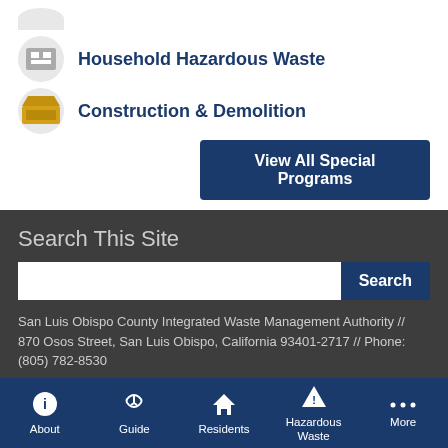Household Hazardous Waste
Construction & Demolition
View All Special Programs
Search This Site
San Luis Obispo County Integrated Waste Management Authority // 870 Osos Street, San Luis Obispo, California 93401-2717 // Phone: (805) 782-8530
About | Guide | Residents | Hazardous Waste | More